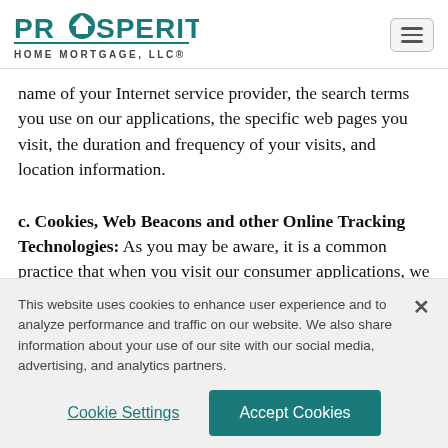PROSPERITY HOME MORTGAGE, LLC®
name of your Internet service provider, the search terms you use on our applications, the specific web pages you visit, the duration and frequency of your visits, and location information.
c. Cookies, Web Beacons and other Online Tracking Technologies: As you may be aware, it is a common practice that when you visit our consumer applications, we may collect data through the use of cookies. web beacons
This website uses cookies to enhance user experience and to analyze performance and traffic on our website. We also share information about your use of our site with our social media, advertising, and analytics partners.
Cookie Settings
Accept Cookies